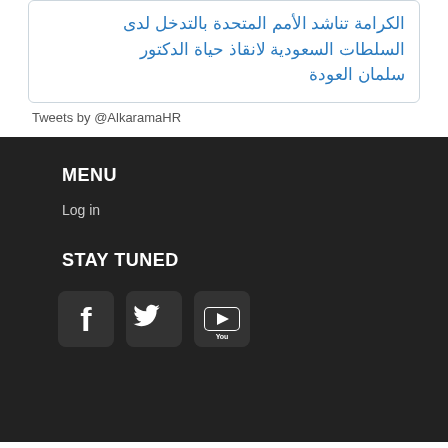الكرامة تناشد الأمم المتحدة بالتدخل لدى السلطات السعودية لانقاذ حياة الدكتور سلمان العودة
Tweets by @AlkaramaHR
MENU
Log in
STAY TUNED
[Figure (other): Social media icons: Facebook, Twitter, YouTube]